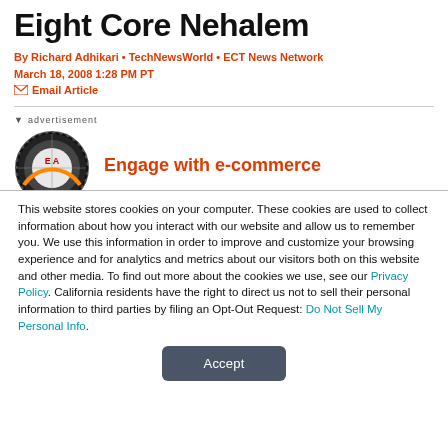Eight Core Nehalem
By Richard Adhikari • TechNewsWorld • ECT News Network
March 18, 2008 1:28 PM PT
✉ Email Article
[Figure (infographic): Advertisement banner with circular logo and text 'Engage with e-commerce']
This website stores cookies on your computer. These cookies are used to collect information about how you interact with our website and allow us to remember you. We use this information in order to improve and customize your browsing experience and for analytics and metrics about our visitors both on this website and other media. To find out more about the cookies we use, see our Privacy Policy. California residents have the right to direct us not to sell their personal information to third parties by filing an Opt-Out Request: Do Not Sell My Personal Info.
Accept